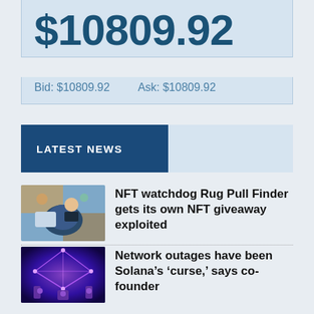$10809.92
Bid: $10809.92    Ask: $10809.92
LATEST NEWS
NFT watchdog Rug Pull Finder gets its own NFT giveaway exploited
Network outages have been Solana’s ‘curse,’ says co-founder